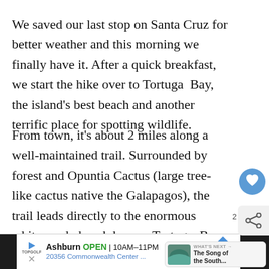We saved our last stop on Santa Cruz for better weather and this morning we finally have it. After a quick breakfast, we start the hike over to Tortuga Bay, the island's best beach and another terrific place for spotting wildlife.
From town, it's about 2 miles along a well-maintained trail. Surrounded by forest and Opuntia Cactus (large tree-like cactus native the Galapagos), the trail leads directly to the enormous white sandy beach known Tortuga Bay.
[Figure (screenshot): UI overlay with heart/like button (blue circle), share icon with count of 2, and a 'What's Next' preview card showing 'The Song of the South...']
[Figure (infographic): Advertisement banner for Topgolf Ashburn showing OPEN 10AM-11PM, 20356 Commonwealth Center..., with blue navigation arrow icon, play button icon, and dark sidebar panels]